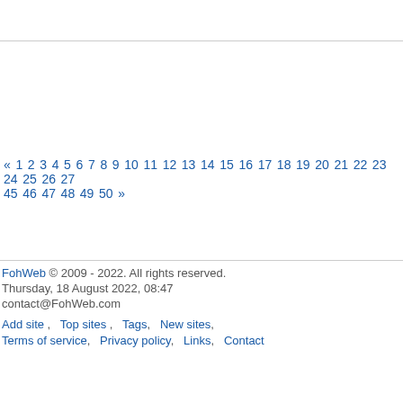« 1 2 3 4 5 6 7 8 9 10 11 12 13 14 15 16 17 18 19 20 21 22 23 24 25 26 27 45 46 47 48 49 50 »
FohWeb © 2009 - 2022. All rights reserved. Thursday, 18 August 2022, 08:47 contact@FohWeb.com Add site, Top sites, Tags, New sites, Terms of service, Privacy policy, Links, Contact